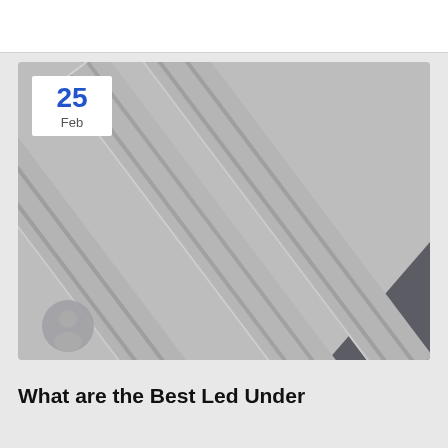[Figure (photo): Blog post card with diagonal LED aluminum channel rail extrusions on grey background, date badge showing 25 Feb in top-left corner, and user avatar icon at bottom-left]
What are the Best Led Under